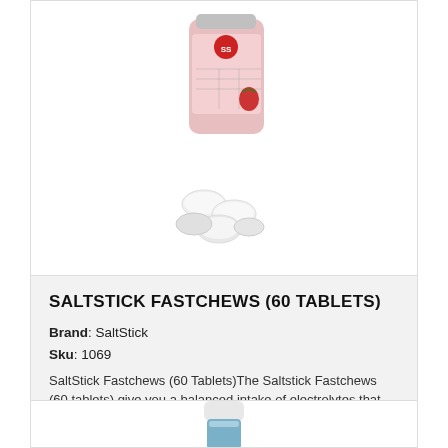[Figure (photo): Product photo of SaltStick Fastchews bottle with white tablets scattered in front, partially visible at top]
SALTSTICK FASTCHEWS (60 TABLETS)
Brand: SaltStick
Sku: 1069
SaltStick Fastchews (60 Tablets)The Saltstick Fastchews (60 tablets) give you a balanced intake of electrolytes that you lose through sweat. This will help stave off heat stress, delay the o...
PRICING & INFO
$14.95
[Figure (photo): Bottom of next product card showing a blue/teal supplement bottle, partially visible]